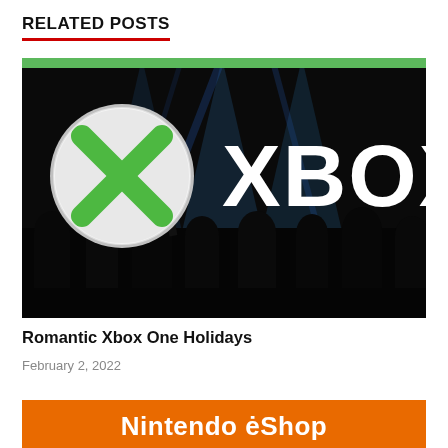RELATED POSTS
[Figure (photo): Xbox One event photo showing an audience in silhouette with the Xbox logo (circle with X) and 'XBOX' text displayed on a large screen with blue light beams. A green bar appears at the top of the image.]
Romantic Xbox One Holidays
February 2, 2022
[Figure (logo): Nintendo eShop logo on an orange background with white bold text reading 'Nintendo eShop']